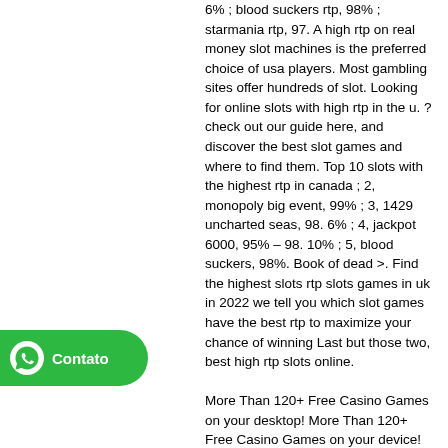6% ; blood suckers rtp, 98% ; starmania rtp, 97. A high rtp on real money slot machines is the preferred choice of usa players. Most gambling sites offer hundreds of slot. Looking for online slots with high rtp in the u. ? check out our guide here, and discover the best slot games and where to find them. Top 10 slots with the highest rtp in canada ; 2, monopoly big event, 99% ; 3, 1429 uncharted seas, 98. 6% ; 4, jackpot 6000, 95% – 98. 10% ; 5, blood suckers, 98%. Book of dead &gt;. Find the highest slots rtp slots games in uk in 2022 we tell you which slot games have the best rtp to maximize your chance of winning Last but those two, best high rtp slots online.
More Than 120+ Free Casino Games on your desktop! More Than 120+ Free Casino Games on your device! Open Casino to View All Games. All Star Slots
[Figure (other): WhatsApp contact badge — green rounded button with WhatsApp phone icon and 'Contato' label]